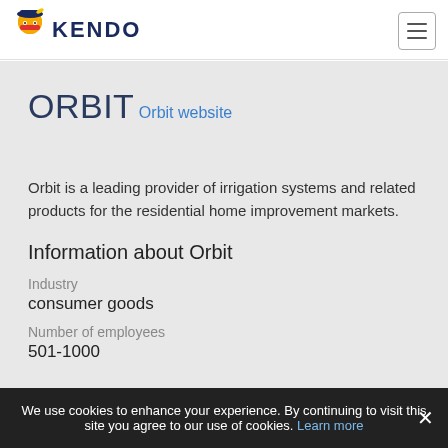KENDO
ORBIT
Orbit website
Orbit is a leading provider of irrigation systems and related products for the residential home improvement markets.
Information about Orbit
Industry
consumer goods
Number of employees
501-1000
We use cookies to enhance your experience. By continuing to visit this site you agree to our use of cookies. Learn more